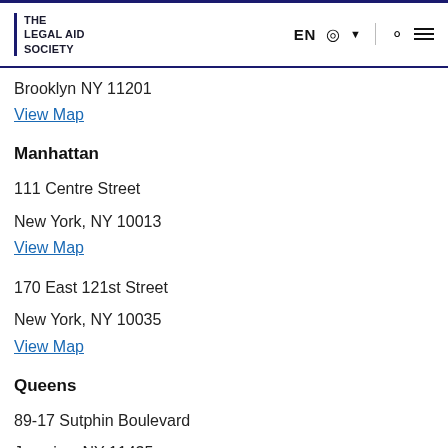THE LEGAL AID SOCIETY | EN (globe) | search | menu
Brooklyn NY 11201
View Map
Manhattan
111 Centre Street
New York, NY 10013
View Map
170 East 121st Street
New York, NY 10035
View Map
Queens
89-17 Sutphin Boulevard
Jamaica, NY 11435
View Map